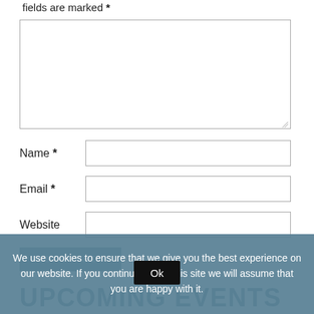fields are marked *
[Figure (screenshot): Comment text area input box]
Name *
[Figure (screenshot): Name input field]
Email *
[Figure (screenshot): Email input field]
Website
[Figure (screenshot): Website input field]
POST COMMENT
We use cookies to ensure that we give you the best experience on our website. If you continue to use this site we will assume that you are happy with it.
Ok
UPCOMING EVENTS